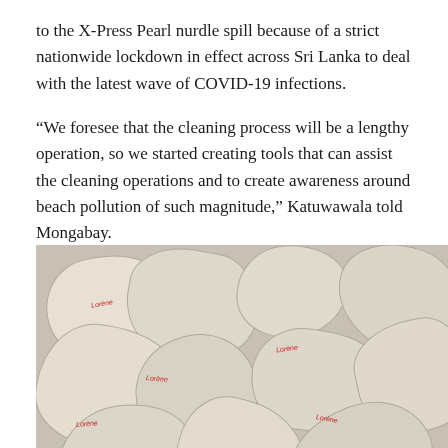to the X-Press Pearl nurdle spill because of a strict nationwide lockdown in effect across Sri Lanka to deal with the latest wave of COVID-19 infections.
“We foresee that the cleaning process will be a lengthy operation, so we started creating tools that can assist the cleaning operations and to create awareness around beach pollution of such magnitude,” Katuwawala told Mongabay.
[Figure (photo): A pile of damaged plastic bags (labeled Lorene/Lorène) that contained plastic nurdles, washed ashore from the X-Press Pearl ship disaster near Sri Lanka.]